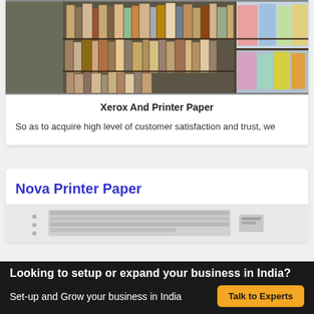[Figure (photo): A stacked shelves of books, binders, and printed materials at a stationery or paper shop]
Xerox And Printer Paper
So as to acquire high level of customer satisfaction and trust, we
Nova Printer Paper
[Figure (photo): Partially visible product image for Nova Printer Paper]
Looking to setup or expand your business in India?
Set-up and Grow your business in India
Talk to Experts